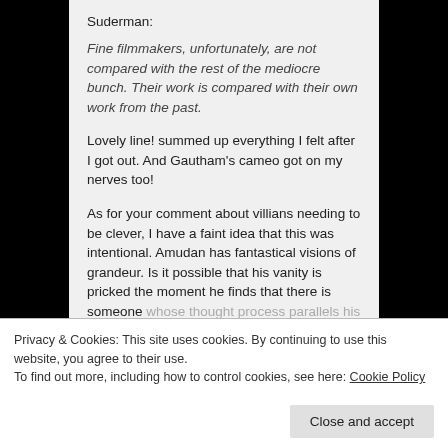Suderman:
Fine filmmakers, unfortunately, are not compared with the rest of the mediocre bunch. Their work is compared with their own work from the past.
Lovely line! summed up everything I felt after I got out. And Gautham's cameo got on my nerves too!
As for your comment about villians needing to be clever, I have a faint idea that this was intentional. Amudan has fantastical visions of grandeur. Is it possible that his vanity is pricked the moment he finds that there is someone whose thought process parallels his on the other
Privacy & Cookies: This site uses cookies. By continuing to use this website, you agree to their use.
To find out more, including how to control cookies, see here: Cookie Policy
Close and accept